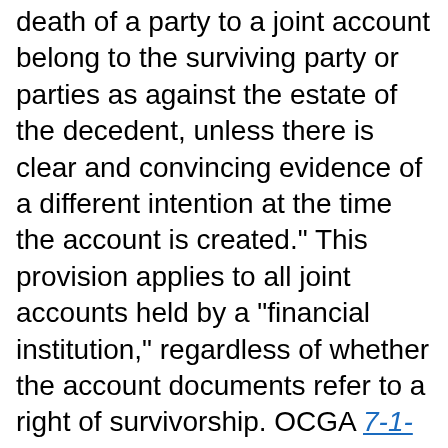death of a party to a joint account belong to the surviving party or parties as against the estate of the decedent, unless there is clear and convincing evidence of a different intention at the time the account is created." This provision applies to all joint accounts held by a "financial institution," regardless of whether the account documents refer to a right of survivorship. OCGA 7-1-810 (1), (3), (4). Although